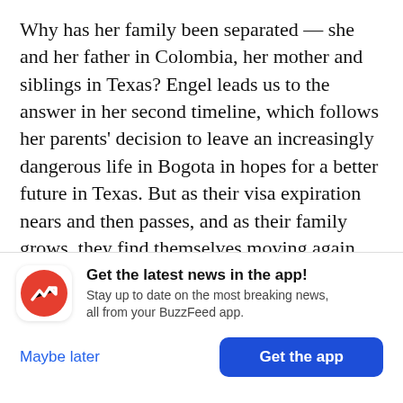Why has her family been separated — she and her father in Colombia, her mother and siblings in Texas? Engel leads us to the answer in her second timeline, which follows her parents' decision to leave an increasingly dangerous life in Bogota in hopes for a better future in Texas. But as their visa expiration nears and then passes, and as their family grows, they find themselves moving again and again to avoid having their undocumented status discovered. It's a riveting and necessary read — an eye-opening account of what being
[Figure (other): BuzzFeed app notification banner with red circular icon containing a white trending arrow, bold title 'Get the latest news in the app!', subtitle 'Stay up to date on the most breaking news, all from your BuzzFeed app.', and two buttons: 'Maybe later' (blue text) and 'Get the app' (blue filled button).]